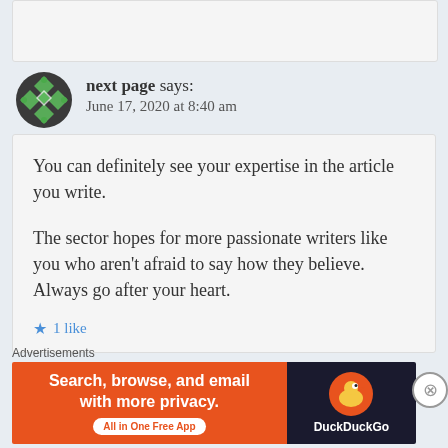next page says: June 17, 2020 at 8:40 am
You can definitely see your expertise in the article you write.

The sector hopes for more passionate writers like you who aren't afraid to say how they believe. Always go after your heart.
1 Like
Advertisements
[Figure (screenshot): DuckDuckGo advertisement banner: 'Search, browse, and email with more privacy. All in One Free App' with DuckDuckGo logo on dark background]